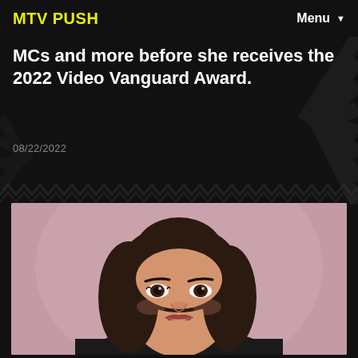MTV PUSH    Menu
MCs and more before she receives the 2022 Video Vanguard Award.
08/22/2022
[Figure (photo): Close-up photo of a young woman with long dark wavy hair, smiling, against a pink/mauve background, wearing a dark top.]